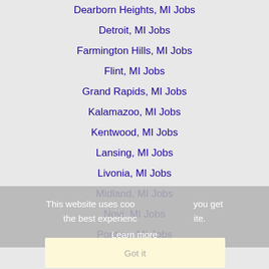Dearborn Heights, MI Jobs
Detroit, MI Jobs
Farmington Hills, MI Jobs
Flint, MI Jobs
Grand Rapids, MI Jobs
Kalamazoo, MI Jobs
Kentwood, MI Jobs
Lansing, MI Jobs
Livonia, MI Jobs
Midland, MI Jobs
Novi, MI Jobs
Pontiac, MI Jobs
Portage, MI Jobs
Redford, MI Jobs
Rochester Hills, MI Jobs
Roseville, MI Jobs
Royal Oak, MI Jobs
Saginaw, MI Jobs
This website uses cookies to ensure you get the best experience on our website. Learn more Got it